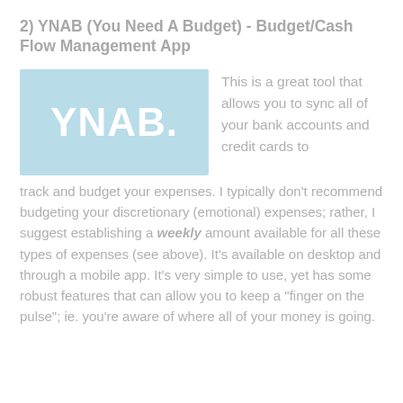2) YNAB (You Need A Budget) - Budget/Cash Flow Management App
[Figure (logo): YNAB logo — light blue rectangle with white bold text 'YNAB.' centered]
This is a great tool that allows you to sync all of your bank accounts and credit cards to track and budget your expenses. I typically don't recommend budgeting your discretionary (emotional) expenses; rather, I suggest establishing a weekly amount available for all these types of expenses (see above). It's available on desktop and through a mobile app. It's very simple to use, yet has some robust features that can allow you to keep a "finger on the pulse"; ie. you're aware of where all of your money is going.